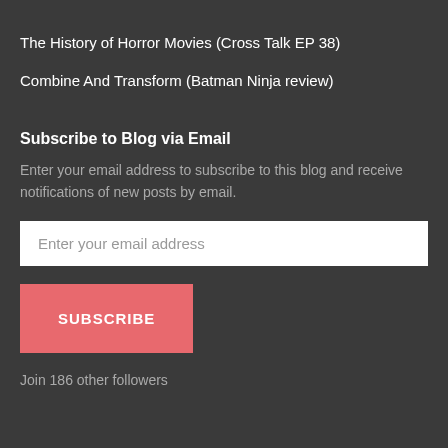The History of Horror Movies (Cross Talk EP 38)
Combine And Transform (Batman Ninja review)
Subscribe to Blog via Email
Enter your email address to subscribe to this blog and receive notifications of new posts by email.
Enter your email address
SUBSCRIBE
Join 186 other followers